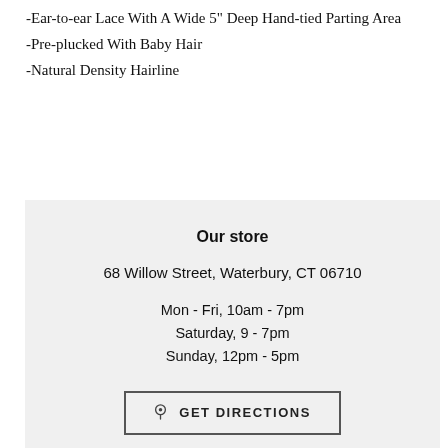-Ear-to-ear Lace With A Wide 5" Deep Hand-tied Parting Area
-Pre-plucked With Baby Hair
-Natural Density Hairline
Our store
68 Willow Street, Waterbury, CT 06710
Mon - Fri, 10am - 7pm
Saturday, 9 - 7pm
Sunday, 12pm - 5pm
GET DIRECTIONS